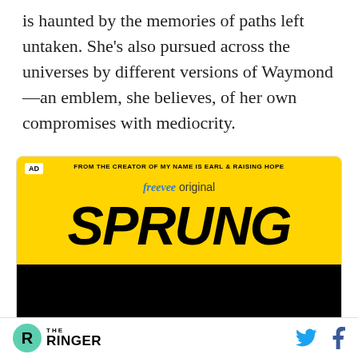is haunted by the memories of paths left untaken. She's also pursued across the universes by different versions of Waymond—an emblem, she believes, of her own compromises with mediocrity.
[Figure (photo): Advertisement for 'Sprung', a Freevee original series. Yellow background with black bold italic SPRUNG text. Top reads 'FROM THE CREATOR OF MY NAME IS EARL & RAISING HOPE'. Below is a black section. AD label in top-left corner.]
THE RINGER [logo] [Twitter icon] [Facebook icon]